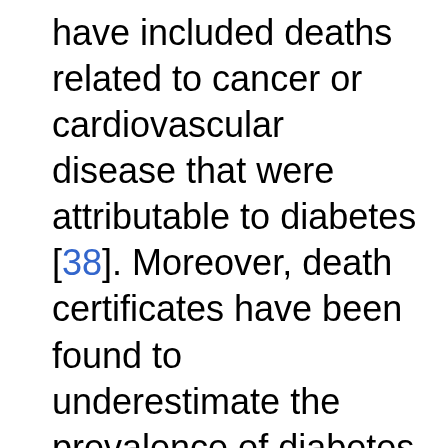have included deaths related to cancer or cardiovascular disease that were attributable to diabetes [38]. Moreover, death certificates have been found to underestimate the prevalence of diabetes among decedents in a study in Japan and in another international study [39,40]. Further analyses of diabetes-related mortality should be